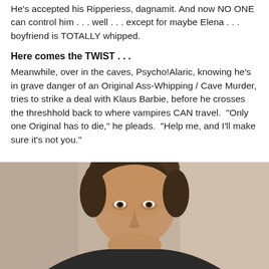He's accepted his Ripperiess, dagnamit. And now NO ONE can control him . . . well . . . except for maybe Elena . . . boyfriend is TOTALLY whipped.
Here comes the TWIST . . .
Meanwhile, over in the caves, Psycho!Alaric, knowing he’s in grave danger of an Original Ass-Whipping / Cave Murder, tries to strike a deal with Klaus Barbie, before he crosses the threshhold back to where vampires CAN travel.  “Only one Original has to die,” he pleads.  “Help me, and I’ll make sure it’s not you.”
[Figure (photo): A young man with short brown hair, wearing a dark shirt, photographed indoors with a blurred neutral background. The photo is cropped to show his head and upper shoulders.]